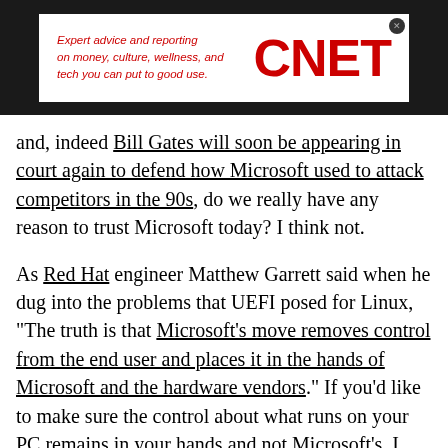[Figure (logo): CNET advertisement banner with red italic tagline text 'Expert advice and reporting on money, culture, wellness, and tech you can put to good use.' and large red bold CNET logo on dark background]
and, indeed Bill Gates will soon be appearing in court again to defend how Microsoft used to attack competitors in the 90s, do we really have any reason to trust Microsoft today? I think not.
As Red Hat engineer Matthew Garrett said when he dug into the problems that UEFI posed for Linux, "The truth is that Microsoft's move removes control from the end user and places it in the hands of Microsoft and the hardware vendors." If you'd like to make sure the control about what runs on your PC remains in your hands and not Microsoft's, I urge you to sign the FSF petition.